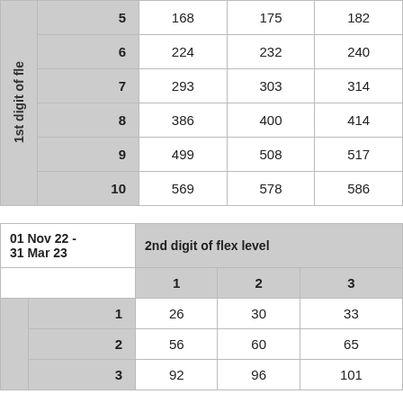| 1st digit of flex level |  | 1 | 2 | 3 |
| --- | --- | --- | --- | --- |
| 5 | 168 | 175 | 182 |
| 6 | 224 | 232 | 240 |
| 7 | 293 | 303 | 314 |
| 8 | 386 | 400 | 414 |
| 9 | 499 | 508 | 517 |
| 10 | 569 | 578 | 586 |
| 01 Nov 22 - 31 Mar 23 | 2nd digit of flex level | 1 | 2 | 3 |
| --- | --- | --- | --- | --- |
| 1 | 26 | 30 | 33 |
| 2 | 56 | 60 | 65 |
| 3 | 92 | 96 | 101 |